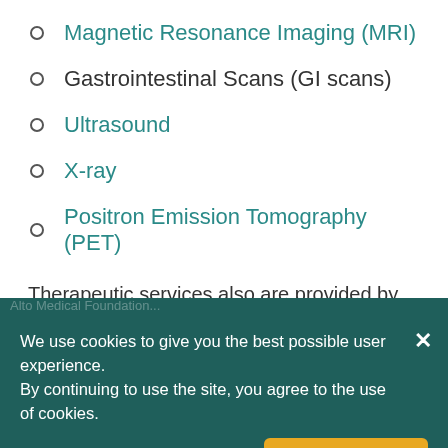Magnetic Resonance Imaging (MRI)
Gastrointestinal Scans (GI scans)
Ultrasound
X-ray
Positron Emission Tomography (PET)
Therapeutic services also are provided by interventional radiologists and radiation oncologists.
Why Choose Us?
We use cookies to give you the best possible user experience. By continuing to use the site, you agree to the use of cookies.
Privacy Policy  Cookie Preferences  ACCEPT COOKIES